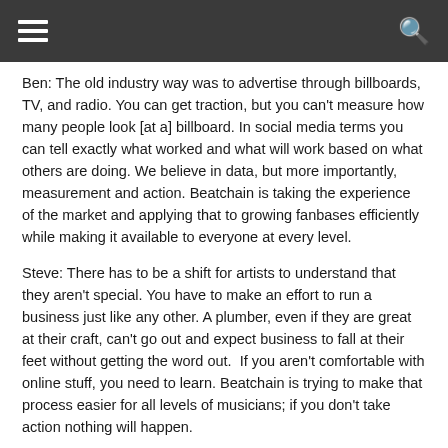[Navigation bar with hamburger menu and search icon]
Ben: The old industry way was to advertise through billboards, TV, and radio. You can get traction, but you can't measure how many people look [at a] billboard. In social media terms you can tell exactly what worked and what will work based on what others are doing. We believe in data, but more importantly, measurement and action. Beatchain is taking the experience of the market and applying that to growing fanbases efficiently while making it available to everyone at every level.
Steve: There has to be a shift for artists to understand that they aren't special. You have to make an effort to run a business just like any other. A plumber, even if they are great at their craft, can't go out and expect business to fall at their feet without getting the word out.  If you aren't comfortable with online stuff, you need to learn. Beatchain is trying to make that process easier for all levels of musicians; if you don't take action nothing will happen.
Sign up for free here: https://Beatchain.com